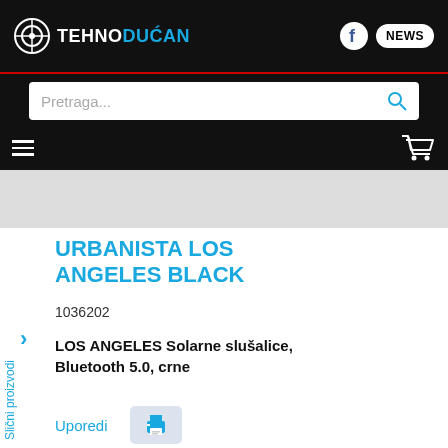TEHNODUCAN
Pretraga...
URBANISTA LOS ANGELES BLACK
1036202
Slični proizvodi
LOS ANGELES Solarne slušalice, Bluetooth 5.0, crne
Uporedi